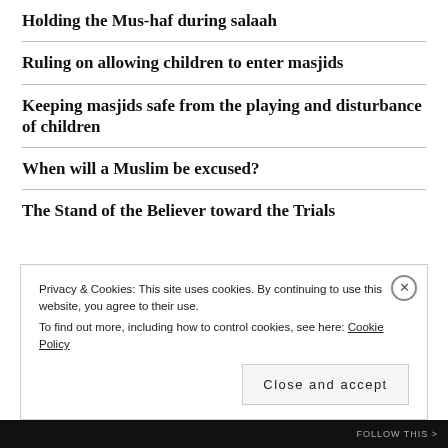Holding the Mus-haf during salaah
Ruling on allowing children to enter masjids
Keeping masjids safe from the playing and disturbance of children
When will a Muslim be excused?
The Stand of the Believer toward the Trials
Privacy & Cookies: This site uses cookies. By continuing to use this website, you agree to their use.
To find out more, including how to control cookies, see here: Cookie Policy